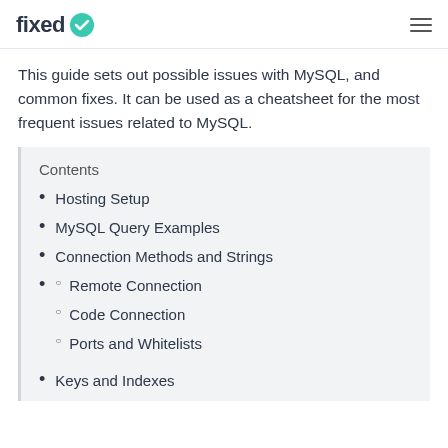fixed
This guide sets out possible issues with MySQL, and common fixes. It can be used as a cheatsheet for the most frequent issues related to MySQL.
Contents
Hosting Setup
MySQL Query Examples
Connection Methods and Strings
Remote Connection
Code Connection
Ports and Whitelists
Keys and Indexes